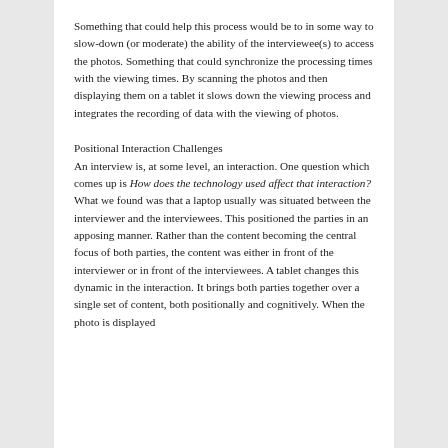Something that could help this process would be to in some way to slow-down (or moderate) the ability of the interviewee(s) to access the photos. Something that could synchronize the processing times with the viewing times. By scanning the photos and then displaying them on a tablet it slows down the viewing process and integrates the recording of data with the viewing of photos.
Positional Interaction Challenges
An interview is, at some level, an interaction. One question which comes up is How does the technology used affect that interaction? What we found was that a laptop usually was situated between the interviewer and the interviewees. This positioned the parties in an apposing manner. Rather than the content becoming the central focus of both parties, the content was either in front of the interviewer or in front of the interviewees. A tablet changes this dynamic in the interaction. It brings both parties together over a single set of content, both positionally and cognitively. When the photo is displayed